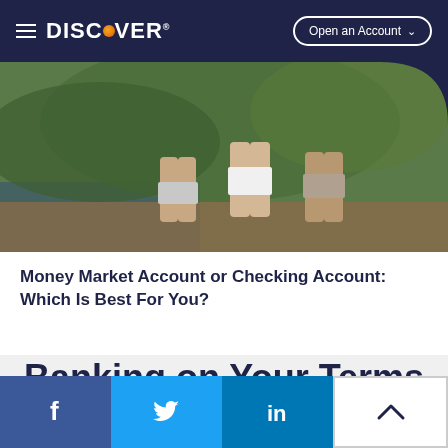DISCOVER — Open an Account
[Figure (photo): Outdoor photo showing people standing near a river or lake, from waist down, wearing casual summer clothes and sandals, with greenery in background.]
Money Market Account or Checking Account: Which Is Best For You?
Banking on Your Terms